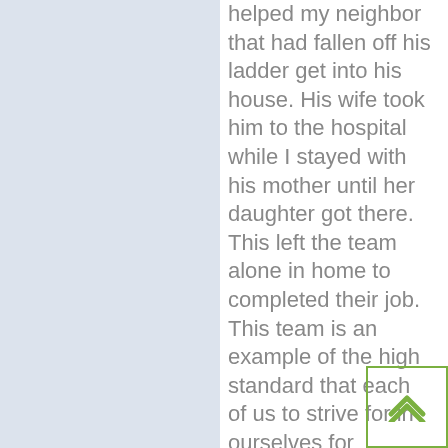helped my neighbor that had fallen off his ladder get into his house. His wife took him to the hospital while I stayed with his mother until her daughter got there. This left the team alone in home to completed their job. This team is an example of the high standard that each of us to strive for in ourselves for honesty, integrity, compassion and professionalism ; and one that is rarely seen. Thank-you Summit for creating an amazing team of individuals that provided far more than a high quality work for the